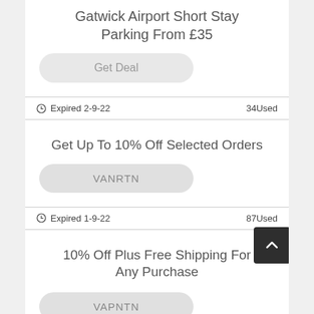Gatwick Airport Short Stay Parking From £35
Get Deal
Expired 2-9-22    34Used
Get Up To 10% Off Selected Orders
VANRTN
Expired 1-9-22    87Used
10% Off Plus Free Shipping For Any Purchase
VAPNTN